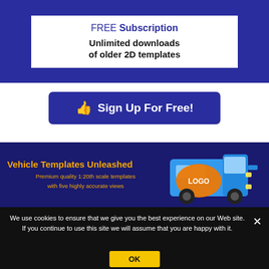[Figure (screenshot): Dark blue banner with white box inside showing 'FREE Subscription Unlimited downloads of older 2D templates']
[Figure (screenshot): Dark blue button with thumbs up icon and text 'Sign Up For Free!']
[Figure (screenshot): Dark blue banner with 'Vehicle Templates Unleashed' in orange, subtitle in orange, and a blue/orange van with LOGO mockup on the right]
We use cookies to ensure that we give you the best experience on our Web site. If you continue to use this site we will assume that you are happy with it.
[Figure (screenshot): Yellow OK button for cookie consent]